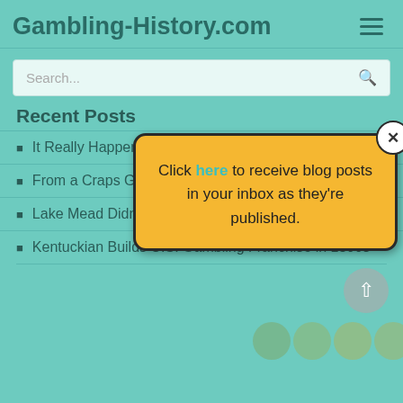Gambling-History.com
Search...
Recent Posts
It Really Happened…
From a Craps Game to the ICU
Lake Mead Didn't Become State Park Due to Gambling
Kentuckian Builds U.S. Gambling Franchise in 1800s
[Figure (screenshot): Popup overlay on Gambling-History.com website showing 'Click here to receive blog posts in your inbox as they're published.' with a close X button in the corner.]